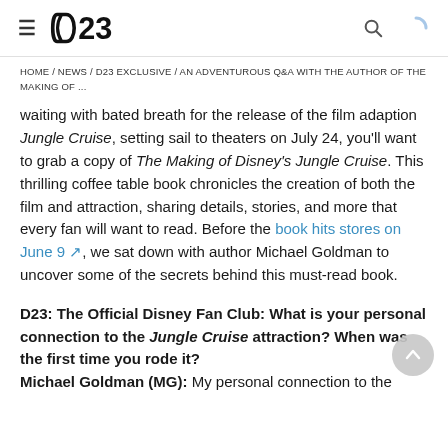D23 — navigation header with hamburger menu, D23 logo, search icon, and loading spinner
HOME / NEWS / D23 EXCLUSIVE / AN ADVENTUROUS Q&A WITH THE AUTHOR OF THE MAKING OF ...
waiting with bated breath for the release of the film adaption Jungle Cruise, setting sail to theaters on July 24, you'll want to grab a copy of The Making of Disney's Jungle Cruise. This thrilling coffee table book chronicles the creation of both the film and attraction, sharing details, stories, and more that every fan will want to read. Before the book hits stores on June 9, we sat down with author Michael Goldman to uncover some of the secrets behind this must-read book.
D23: The Official Disney Fan Club: What is your personal connection to the Jungle Cruise attraction? When was the first time you rode it?
Michael Goldman (MG): My personal connection to the attraction has been the same as most people, I suppose, and